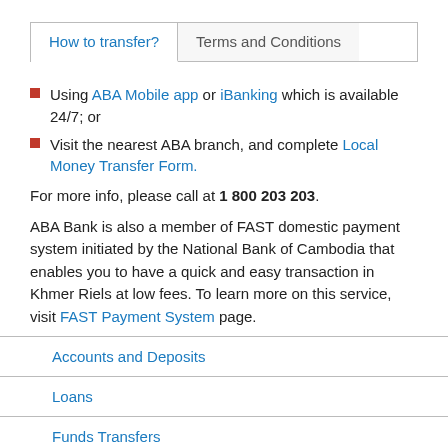How to transfer? | Terms and Conditions
Using ABA Mobile app or iBanking which is available 24/7; or
Visit the nearest ABA branch, and complete Local Money Transfer Form.
For more info, please call at 1 800 203 203.
ABA Bank is also a member of FAST domestic payment system initiated by the National Bank of Cambodia that enables you to have a quick and easy transaction in Khmer Riels at low fees. To learn more on this service, visit FAST Payment System page.
Accounts and Deposits
Loans
Funds Transfers
SWIFT Transfers
Domestic Transfers
FAST Payment...